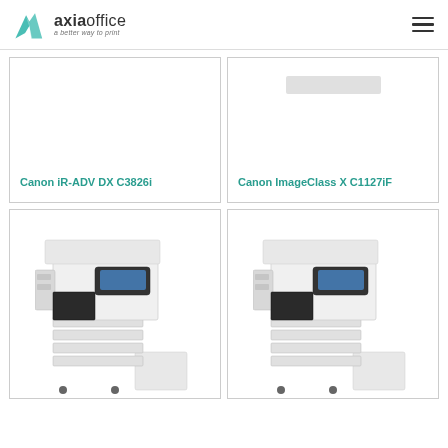[Figure (logo): Axia Office logo with teal geometric icon and text 'axiaoffice — a better way to print']
Canon iR-ADV DX C3826i
Canon ImageClass X C1127iF
[Figure (photo): Canon iR-ADV DX C3826i multifunction printer with multiple paper trays and a side stand]
[Figure (photo): Canon multifunction printer (second unit) similar to the C3826i with multiple paper trays and a side stand]